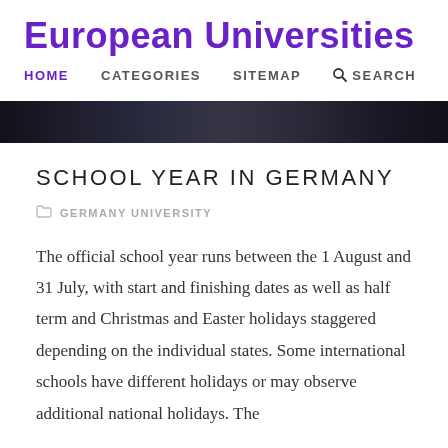European Universities
HOME   CATEGORIES   SITEMAP   SEARCH
[Figure (photo): Dark header hero image showing partial view of a person in a blue shirt against a dark background]
SCHOOL YEAR IN GERMANY
GERMANY UNIVERSITY
The official school year runs between the 1 August and 31 July, with start and finishing dates as well as half term and Christmas and Easter holidays staggered depending on the individual states. Some international schools have different holidays or may observe additional national holidays. The